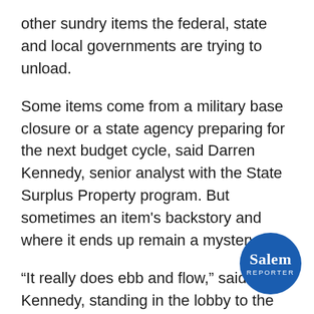other sundry items the federal, state and local governments are trying to unload.
Some items come from a military base closure or a state agency preparing for the next budget cycle, said Darren Kennedy, senior analyst with the State Surplus Property program. But sometimes an item's backstory and where it ends up remain a mystery.
“It really does ebb and flow,” said Kennedy, standing in the lobby to the store’s warehouse. “Sometimes it’s a lot; sometimes it’s not very much at all. There’s no real rhyme or reason to it.”
[Figure (logo): Salem Reporter circular blue logo with 'Salem' in bold white serif text and 'REPORTER' in white uppercase letters below]